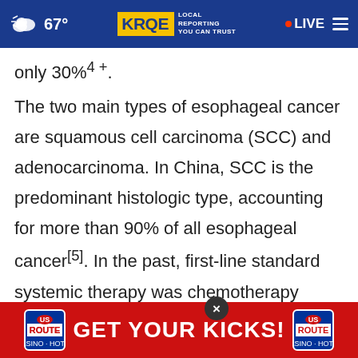67° KRQE LOCAL REPORTING YOU CAN TRUST · LIVE
only 30%⁴ ⁺.
The two main types of esophageal cancer are squamous cell carcinoma (SCC) and adenocarcinoma. In China, SCC is the predominant histologic type, accounting for more than 90% of all esophageal cancer[5]. In the past, first-line standard systemic therapy was chemotherapy based on platinum drugs for unresectable locally advanced, recurrent or metastatic... tive first-line treatment options. Several PD-1
[Figure (other): Route 66 Casino Hotel advertisement banner: GET YOUR KICKS! with two Route 66 shield logos on red background]